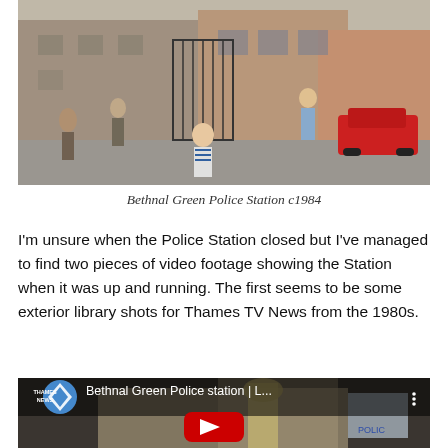[Figure (photo): Street scene photograph of Bethnal Green Police Station circa 1984, showing pedestrians on a street with brick buildings and a red car]
Bethnal Green Police Station c1984
I'm unsure when the Police Station closed but I've managed to find two pieces of video footage showing the Station when it was up and running. The first seems to be some exterior library shots for Thames TV News from the 1980s.
[Figure (screenshot): YouTube video thumbnail showing Bethnal Green Police station exterior with Thames News logo and title 'Bethnal Green Police station | L...' with YouTube play button overlay]